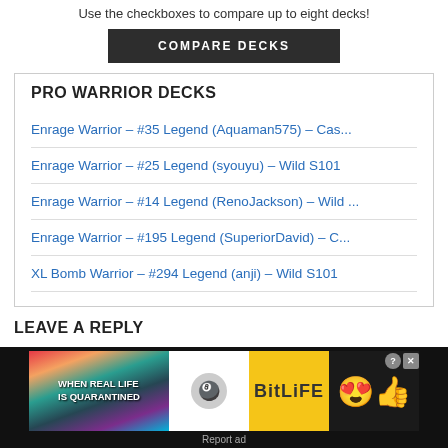Use the checkboxes to compare up to eight decks!
COMPARE DECKS
PRO WARRIOR DECKS
Enrage Warrior – #35 Legend (Aquaman575) – Cas...
Enrage Warrior – #25 Legend (syouyu) – Wild S101
Enrage Warrior – #14 Legend (RenoJackson) – Wild ...
Enrage Warrior – #195 Legend (SuperiorDavid) – C...
XL Bomb Warrior – #294 Legend (anji) – Wild S101
LEAVE A REPLY
[Figure (other): BitLife advertisement banner: colorful rainbow graphic on left with text WHEN REAL LIFE IS QUARANTINED, yellow BitLife logo in center, emoji characters on right, with close and help buttons.]